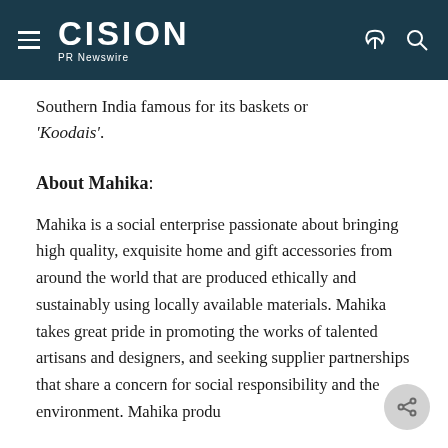CISION PR Newswire
Southern India famous for its baskets or 'Koodais'.
About Mahika:
Mahika is a social enterprise passionate about bringing high quality, exquisite home and gift accessories from around the world that are produced ethically and sustainably using locally available materials. Mahika takes great pride in promoting the works of talented artisans and designers, and seeking supplier partnerships that share a concern for social responsibility and the environment. Mahika produ...